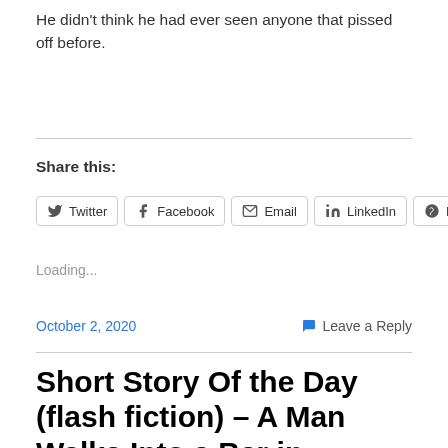He didn't think he had ever seen anyone that pissed off before.
Share this:
Twitter   Facebook   Email   LinkedIn   Reddit
Loading...
October 2, 2020   Leave a Reply
Short Story Of the Day (flash fiction) – A Man Walks Into a Bar in Ouagadougou by Bill